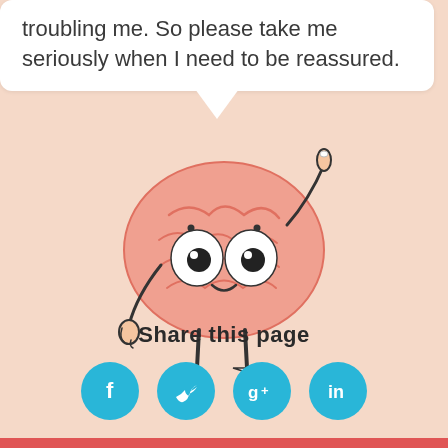troubling me. So please take me seriously when I need to be reassured.
[Figure (illustration): Cartoon brain character with big eyes, arms, legs, and one finger raised, standing upright on a peach background]
Share this page
[Figure (infographic): Four circular social media icons: Facebook (f), Twitter (bird), Google+ (g+), LinkedIn (in), all in cyan/teal color]